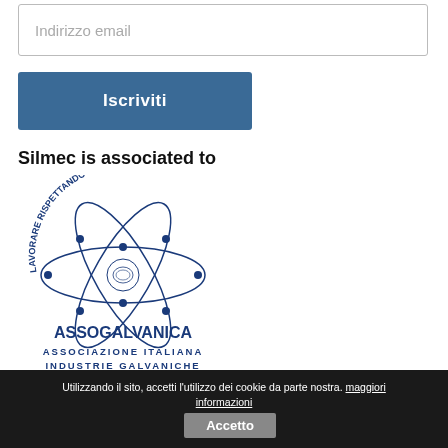Indirizzo email
Iscriviti
Silmec is associated to
[Figure (logo): Assogalvanica logo — circular arc with atom/electron orbits and text 'LAVORARE RISPETTANDO L'AMBIENTE' around the top, and 'ASSOGALVANICA ASSOCIAZIONE ITALIANA INDUSTRIE GALVANICHE' below, in dark blue.]
© 2022 Silmec. All rights reserved. P.I. Cap. Soc. € 514.800 i.v. M. TV017434 – R.E.A. TV N. 94944 P.IVA 00193640265 - Web developers@i-lex.socialvision.it
Utilizzando il sito, accetti l'utilizzo dei cookie da parte nostra. maggiori informazioni  Accetto